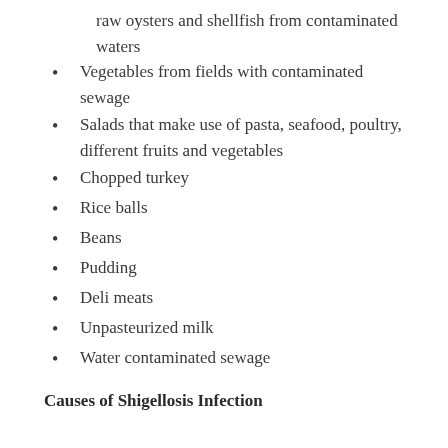raw oysters and shellfish from contaminated waters
Vegetables from fields with contaminated sewage
Salads that make use of pasta, seafood, poultry, different fruits and vegetables
Chopped turkey
Rice balls
Beans
Pudding
Deli meats
Unpasteurized milk
Water contaminated sewage
Causes of Shigellosis Infection